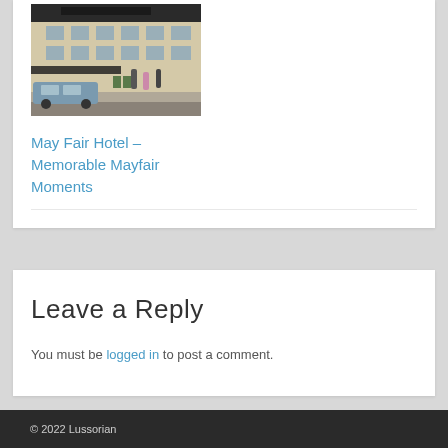[Figure (photo): Exterior photo of May Fair Hotel building with a car parked outside on the street]
May Fair Hotel – Memorable Mayfair Moments
Leave a Reply
You must be logged in to post a comment.
© 2022 Lussorian